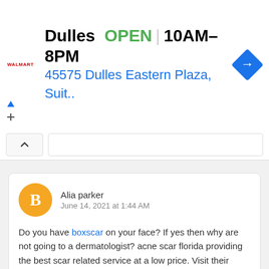[Figure (screenshot): Ad banner for Walmart, Dulles store. Shows store name, OPEN status, hours 10AM-8PM, address 45575 Dulles Eastern Plaza, Suit.. and a blue diamond navigation icon.]
Do you have boxscar on your face? If yes then why are not going to a dermatologist? acne scar florida providing the best scar related service at a low price. Visit their website to learn more about it.
Alia parker
June 14, 2021 at 1:44 AM
bamgosoocom
July 5, 2021 at 6:41 AM